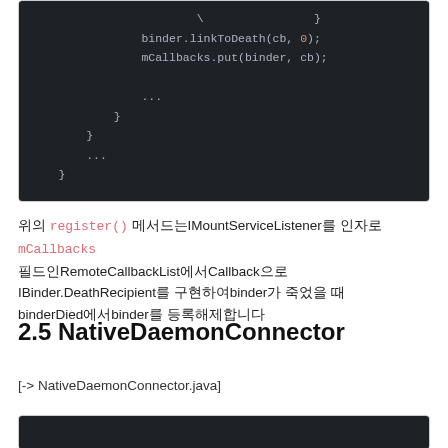[Figure (screenshot): Dark-themed code editor showing Java code snippet with binder.linkToDeath, mCallbacks.put, closing braces and ellipsis]
위의 register() 메서드는IMountServiceListener를 인자로 mCallbacks 필드인RemoteCallbackList에서Callback으로 IIBinder.DeathRecipient를 구현하여binder가 죽었을 때 binderDied에서binder를 등록해제합니다
2.5 NativeDaemonConnector
[-> NativeDaemonConnector.java]
[Figure (screenshot): Dark-themed code editor, partial view at bottom of page]